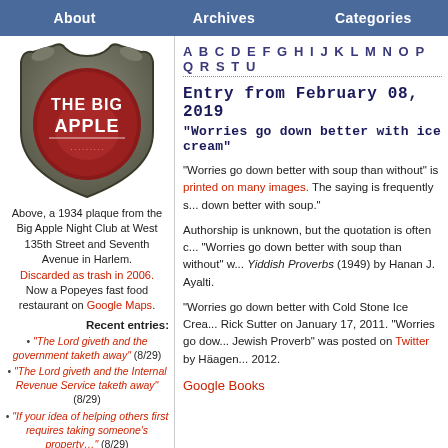About | Archives | Categories
[Figure (photo): A 1934 plaque from the Big Apple Night Club, shield-shaped with raised lettering 'THE BIG APPLE' on a dark maroon background with horn-like protrusions at the top.]
Above, a 1934 plaque from the Big Apple Night Club at West 135th Street and Seventh Avenue in Harlem. Discarded as trash in 2006. Now a Popeyes fast food restaurant on Google Maps.
Recent entries:
“The Lord giveth and the government taketh away” (8/29)
“The Lord giveth and the Internal Revenue Service taketh away” (8/29)
“If your idea of helping others first requires taking someone’s property…” (8/29)
A B C D E F G H I J K L M N O P Q R S T U
Entry from February 08, 2019
“Worries go down better with ice cream”
“Worries go down better with soup than without” is printed on many images. The saying is frequently s... down better with soup.”
Authorship is unknown, but the quotation is often c... “Worries go down better with soup than without” w... Yiddish Proverbs (1949) by Hanan J. Ayalti.
“Worries go down better with Cold Stone Ice Crea... Rick Sutter on January 17, 2011. “Worries go dow... Jewish Proverb” was posted on Twitter by Häagen... 2012.
Google Books